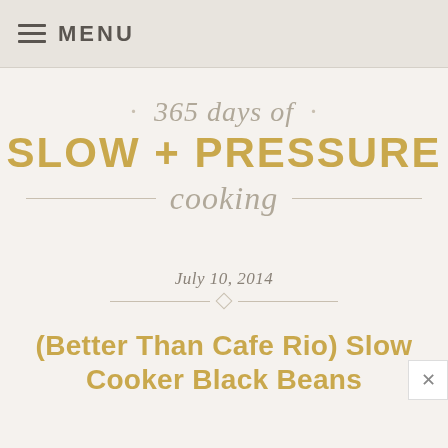MENU
365 days of SLOW + PRESSURE cooking
July 10, 2014
(Better Than Cafe Rio) Slow Cooker Black Beans